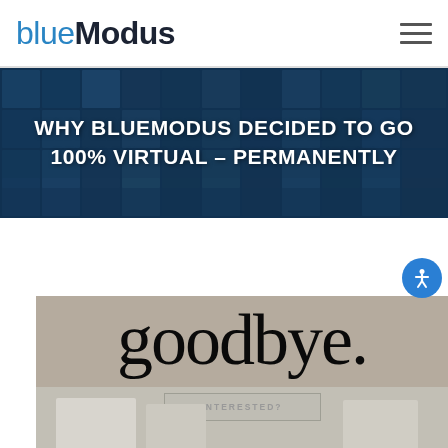blueModus
WHY BLUEMODUS DECIDED TO GO 100% VIRTUAL – PERMANENTLY
[Figure (photo): Photo showing a 'goodbye.' cursive wall decal above office equipment including what appears to be a printer/fax machine, with an 'INTERESTED?' overlay text box]
INTERESTED?